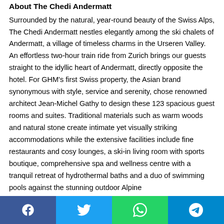About The Chedi Andermatt
Surrounded by the natural, year-round beauty of the Swiss Alps, The Chedi Andermatt nestles elegantly among the ski chalets of Andermatt, a village of timeless charms in the Urseren Valley. An effortless two-hour train ride from Zurich brings our guests straight to the idyllic heart of Andermatt, directly opposite the hotel. For GHM's first Swiss property, the Asian brand synonymous with style, service and serenity, chose renowned architect Jean-Michel Gathy to design these 123 spacious guest rooms and suites. Traditional materials such as warm woods and natural stone create intimate yet visually striking accommodations while the extensive facilities include fine restaurants and cosy lounges, a ski-in living room with sports boutique, comprehensive spa and wellness centre with a tranquil retreat of hydrothermal baths and a duo of swimming pools against the stunning outdoor Alpine
[Figure (infographic): Social media sharing bar with Facebook, Twitter, WhatsApp, and Telegram buttons]